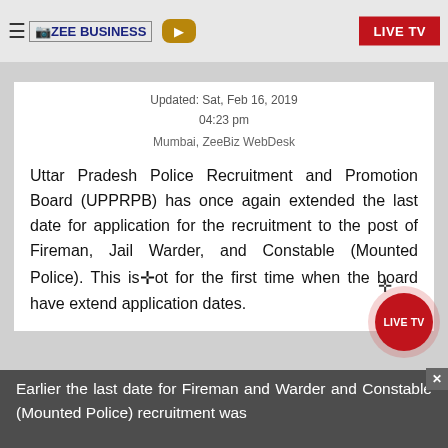ZEE BUSINESS | LIVE TV
Updated: Sat, Feb 16, 2019
04:23 pm
Mumbai, ZeeBiz WebDesk
Uttar Pradesh Police Recruitment and Promotion Board (UPPRPB) has once again extended the last date for application for the recruitment to the post of Fireman, Jail Warder, and Constable (Mounted Police). This is not for the first time when the board have extended application dates.
Earlier the last date for Fireman and Warder and Constable (Mounted Police) recruitment was